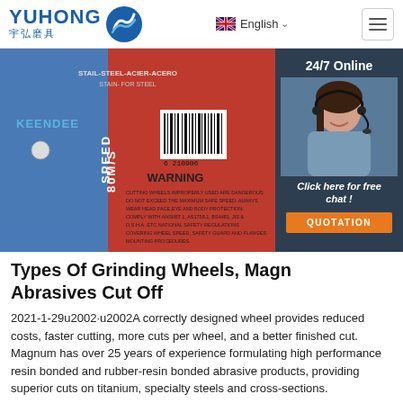YUHONG 宇弘磨具  English  ☰
[Figure (photo): A red and blue grinding/cut-off wheel branded KEENDEE with SPEED 80M/S label and WARNING text about safe usage. Partially overlaid by a 24/7 Online chat widget showing a female customer service representative with headset, with 'Click here for free chat!' text and an orange QUOTATION button.]
Types Of Grinding Wheels, Magnum Abrasives Cut Off
2021-1-29u2002·u2002A correctly designed wheel provides reduced costs, faster cutting, more cuts per wheel, and a better finished cut. Magnum has over 25 years of experience formulating high performance resin bonded and rubber-resin bonded abrasive products, providing superior cuts on titanium, specialty steels and cross-sections.